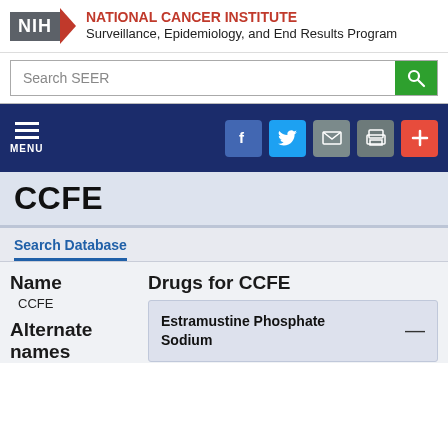[Figure (logo): NIH National Cancer Institute Surveillance, Epidemiology, and End Results Program logo]
Search SEER
[Figure (screenshot): Navigation bar with MENU button and social media icons (Facebook, Twitter, email, print, plus)]
CCFE
Search Database
| Name | Drugs for CCFE |
| --- | --- |
| CCFE | Estramustine Phosphate Sodium — |